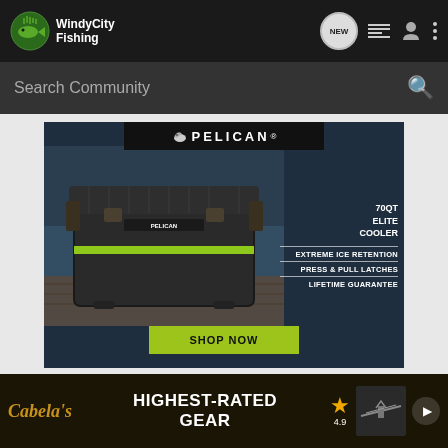[Figure (screenshot): Windy City Fishing community website screenshot showing navigation bar with logo, search bar, Pelican cooler advertisement, user post area, and Cabela's banner ad]
WindyCityFishing
NEW
Search Community
[Figure (photo): Pelican 70QT Elite Cooler advertisement showing dark cooler with green trim on a dock with water in background. Text: EXTREME ICE RETENTION, PRESS & PULL LATCHES, LIFETIME GUARANTEE, SHOP NOW]
PELICAN
70QT
ELITE
COOLER
EXTREME ICE RETENTION
PRESS & PULL LATCHES
LIFETIME GUARANTEE
SHOP NOW
twocleseyes · Registered
[Figure (photo): Cabela's Highest-Rated Gear banner advertisement with star rating 4.9 and product image on dark background]